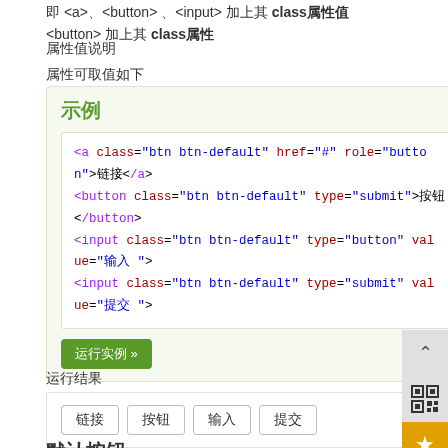即 <a>、<button> 、<input> 加上其 class属性值 <button> 加上其 class属性
属性值说明
属性可取值如下
[Figure (screenshot): Code demo box showing HTML code for btn btn-default class usage with a, button, and input elements. Contains a green demo button labeled '运行实例 »']
运行结果
[Figure (screenshot): Result box showing four buttons labeled 链接, 按钮, 输入, 提交]
默认按钮